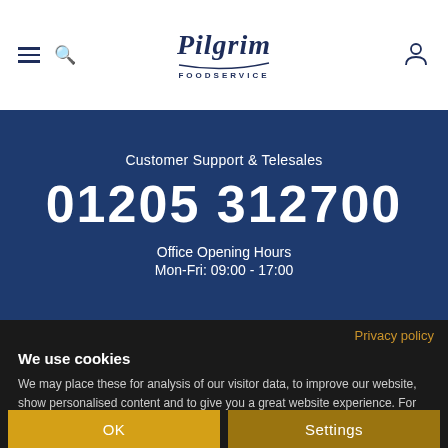[Figure (logo): Pilgrim Foodservice logo - italic serif text with swoosh underline and FOODSERVICE subtitle]
Customer Support & Telesales
01205 312700
Office Opening Hours
Mon-Fri: 09:00 - 17:00
Privacy policy
We use cookies
We may place these for analysis of our visitor data, to improve our website, show personalised content and to give you a great website experience. For more information about the cookies we use open the settings.
OK
Settings